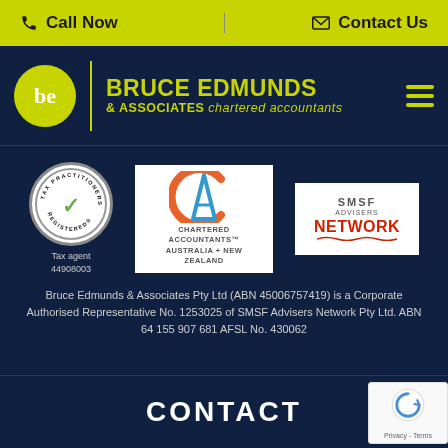Call Now | Contact Us
[Figure (logo): Bruce Edmunds & Associates Chartered Accountants logo with 'be' circle, divider, brand name in yellow-green on dark blue, and hamburger menu icon]
[Figure (logo): Tax Practitioners Board Registered circular badge with checkmark. Tax agent 44908003]
[Figure (logo): Chartered Accountants Australia + New Zealand logo]
[Figure (logo): SMSF Advisers Network logo]
Bruce Edmunds & Associates Pty Ltd (ABN 45006757419) is a Corporate Authorised Representative No. 1253025 of SMSF Advisers Network Pty Ltd. ABN 64 155 907 681 AFSL No. 430062
CONTACT